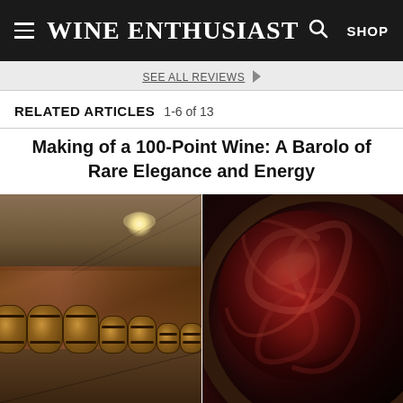Wine Enthusiast — SHOP
SEE ALL REVIEWS
RELATED ARTICLES 1-6 of 13
Making of a 100-Point Wine: A Barolo of Rare Elegance and Energy
[Figure (photo): Two-panel image: left panel shows a wine cellar with rows of oak barrels in a brick-walled room with track lighting; right panel shows a close-up looking into a wine barrel vat with red wine swirling inside.]